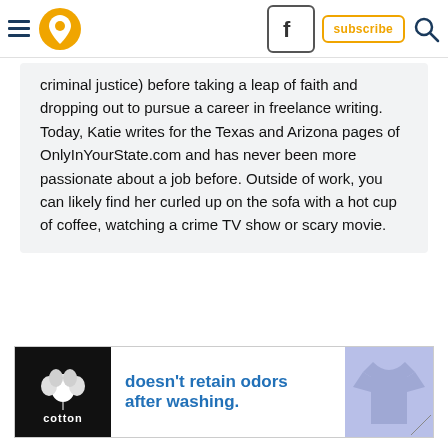OnlyInYourState navigation header with hamburger menu, location pin logo, Facebook button, subscribe button, and search icon
criminal justice) before taking a leap of faith and dropping out to pursue a career in freelance writing. Today, Katie writes for the Texas and Arizona pages of OnlyInYourState.com and has never been more passionate about a job before. Outside of work, you can likely find her curled up on the sofa with a hot cup of coffee, watching a crime TV show or scary movie.
[Figure (illustration): Advertisement banner for Cotton: 'doesn't retain odors after washing.' with Cotton logo on black background and a light blue/lavender t-shirt image on the right]